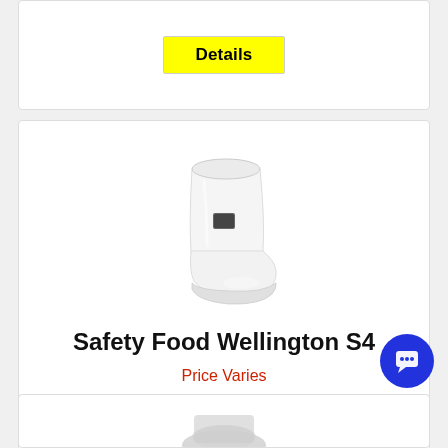[Figure (other): Yellow 'Details' button on white card (partial, top of page)]
[Figure (photo): White safety food wellington boot (rubber boot) with a small dark label on the shaft]
Safety Food Wellington S4
Price Varies
[Figure (other): Yellow 'Details' button]
[Figure (other): Partial bottom card with another product image starting to appear]